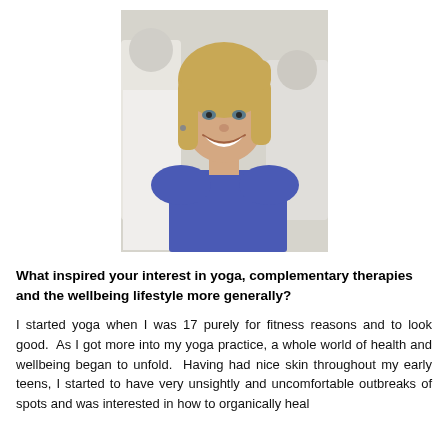[Figure (photo): Portrait photo of a smiling blonde woman wearing a blue top, with other people blurred in the background.]
What inspired your interest in yoga, complementary therapies and the wellbeing lifestyle more generally?
I started yoga when I was 17 purely for fitness reasons and to look good.  As I got more into my yoga practice, a whole world of health and wellbeing began to unfold.  Having had nice skin throughout my early teens, I started to have very unsightly and uncomfortable outbreaks of spots and was interested in how to organically heal